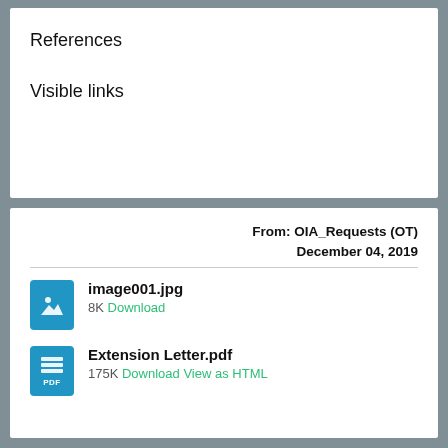References
Visible links
From: OIA_Requests (OT)
December 04, 2019
image001.jpg
8K Download
Extension Letter.pdf
175K Download View as HTML